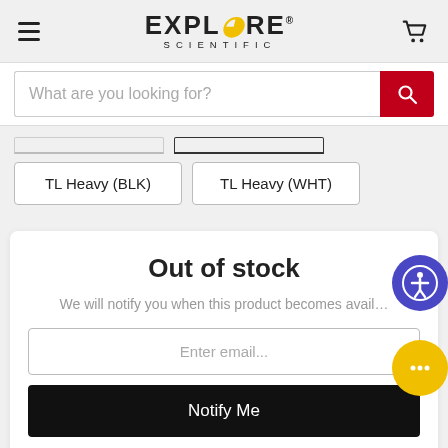Explore Scientific
What are you looking for?
TL Heavy (BLK)
TL Heavy (WHT)
Out of stock
We will notify you when this product becomes available.
Enter email...
Notify Me